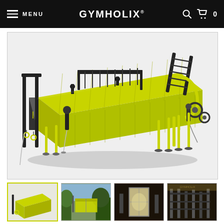MENU | GYMHOLIX® | 🔍 | 🛒 0
[Figure (illustration): 3D render of a Gymholix outdoor shipping container gym in yellow, with attached workout stations including monkey bars, pull-up rigs, cable machines, and rope anchors on all sides]
[Figure (photo): Thumbnail 1: yellow container gym side view render]
[Figure (photo): Thumbnail 2: outdoor photo of container gym installation in a wooded area]
[Figure (photo): Thumbnail 3: interior doorway photo of container gym]
[Figure (photo): Thumbnail 4: interior photo of container gym equipment]